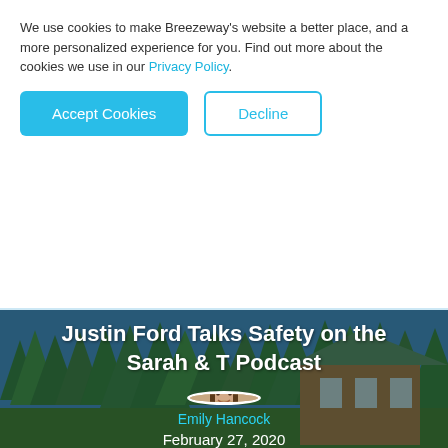We use cookies to make Breezeway's website a better place, and a more personalized experience for you. Find out more about the cookies we use in our Privacy Policy.
Accept Cookies
Decline
[Figure (photo): Hero image of a mountain cabin with tall pine trees and blue sky background]
Justin Ford Talks Safety on the Sarah & T Podcast
[Figure (photo): Circular author avatar photo of Emily Hancock]
Emily Hancock
February 27, 2020